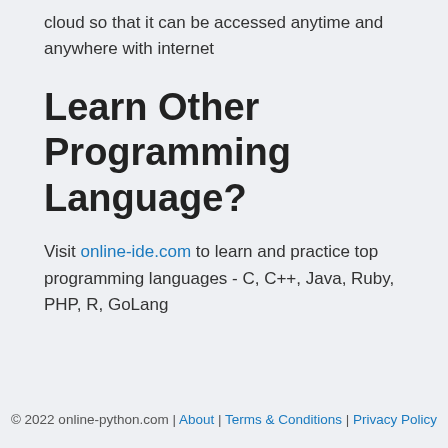cloud so that it can be accessed anytime and anywhere with internet
Learn Other Programming Language?
Visit online-ide.com to learn and practice top programming languages - C, C++, Java, Ruby, PHP, R, GoLang
© 2022 online-python.com | About | Terms & Conditions | Privacy Policy